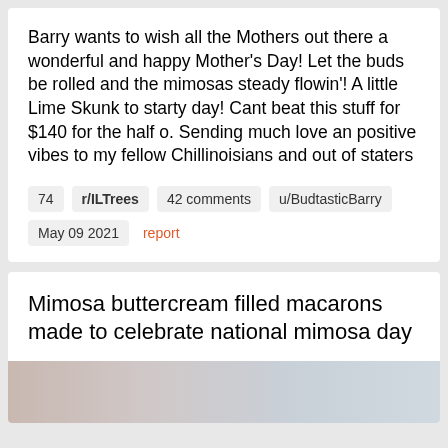Barry wants to wish all the Mothers out there a wonderful and happy Mother's Day! Let the buds be rolled and the mimosas steady flowin'! A little Lime Skunk to starty day! Cant beat this stuff for $140 for the half o. Sending much love an positive vibes to my fellow Chillinoisians and out of staters
74  r/ILTrees  42 comments  u/BudtasticBarry  May 09 2021  report
Mimosa buttercream filled macarons made to celebrate national mimosa day
[Figure (photo): Partial image visible at bottom of page showing a blurred/gradient background in beige, pink, and blue tones]